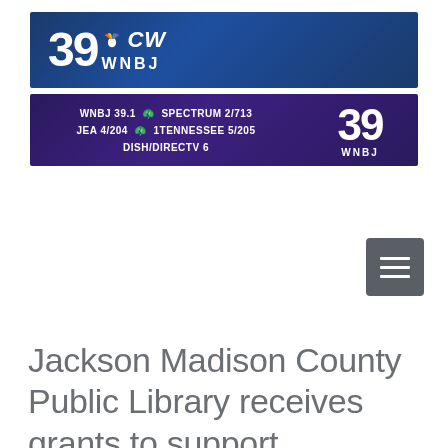[Figure (logo): WNBJ 39 NBC/CW television station logo banner in dark blue with large '39', NBC peacock icon, CW network logo, and WNBJ text]
[Figure (logo): WNBJ 39 channel listing banner in dark purple showing: WNBJ 39.1, SPECTRUM 2/713, JEA 4/204, 1TENNESSEE 5/205, DISH/DIRECTV 6, with large '39' and NBC peacock logo on right]
[Figure (other): Grey hamburger menu button with three horizontal lines]
Jackson Madison County Public Library receives grants to support technology need